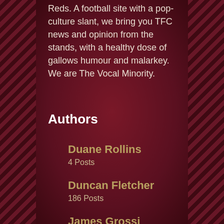Reds. A football site with a pop-culture slant, we bring you TFC news and opinion from the stands, with a healthy dose of gallows humour and malarkey. We are The Vocal Minority.
Authors
Duane Rollins
4 Posts
Duncan Fletcher
186 Posts
James Grossi